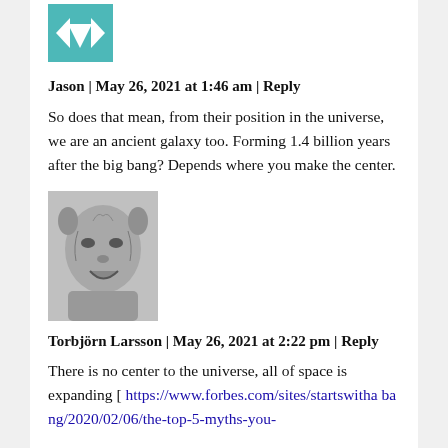[Figure (logo): Teal arrow/icon avatar for Jason]
Jason | May 26, 2021 at 1:46 am | Reply
So does that mean, from their position in the universe, we are an ancient galaxy too. Forming 1.4 billion years after the big bang? Depends where you make the center.
[Figure (photo): Grayscale photo of a cat or animal face, avatar for Torbjörn Larsson]
Torbjörn Larsson | May 26, 2021 at 2:22 pm | Reply
There is no center to the universe, all of space is expanding [ https://www.forbes.com/sites/startswithab ang/2020/02/06/the-top-5-myths-you-